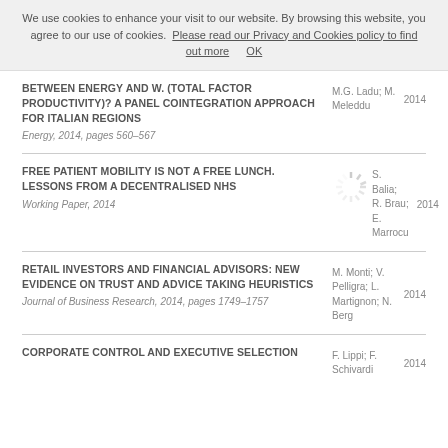We use cookies to enhance your visit to our website. By browsing this website, you agree to our use of cookies. Please read our Privacy and Cookies policy to find out more   OK
BETWEEN ENERGY AND W. (TOTAL FACTOR PRODUCTIVITY)? A PANEL COINTEGRATION APPROACH FOR ITALIAN REGIONS | Energy, 2014, pages 560–567 | M.G. Ladu; M. Meleddu | 2014
FREE PATIENT MOBILITY IS NOT A FREE LUNCH. LESSONS FROM A DECENTRALISED NHS | Working Paper, 2014 | S. Balia; R. Brau; E. Marrocu | 2014
RETAIL INVESTORS AND FINANCIAL ADVISORS: NEW EVIDENCE ON TRUST AND ADVICE TAKING HEURISTICS | Journal of Business Research, 2014, pages 1749–1757 | M. Monti; V. Pelligra; L. Martignon; N. Berg | 2014
CORPORATE CONTROL AND EXECUTIVE SELECTION | F. Lippi; F. Schivardi | 2014